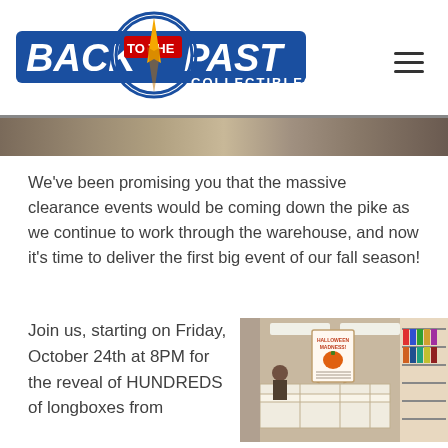[Figure (logo): Back to the Past Collectibles logo with compass/clock graphic and blue banner]
[Figure (photo): Strip photo of the store interior, blurred hero banner]
We've been promising you that the massive clearance events would be coming down the pike as we continue to work through the warehouse, and now it's time to deliver the first big event of our fall season!
Join us, starting on Friday, October 24th at 8PM for the reveal of HUNDREDS of longboxes from
[Figure (photo): Interior photo of Back to the Past Collectibles store showing longboxes and a Halloween Madness sign on an easel]